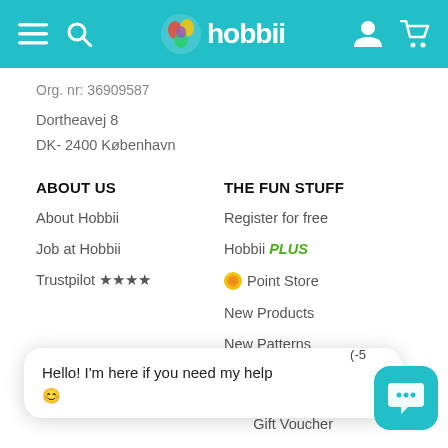Hobbii
Org. nr: 36909587
Dortheavej 8
DK- 2400 København
ABOUT US
THE FUN STUFF
About Hobbii
Register for free
Job at Hobbii
Hobbii PLUS
Trustpilot ★★★★
Point Store
New Products
New Patterns
Gift Voucher
Hello! I'm here if you need my help 😊